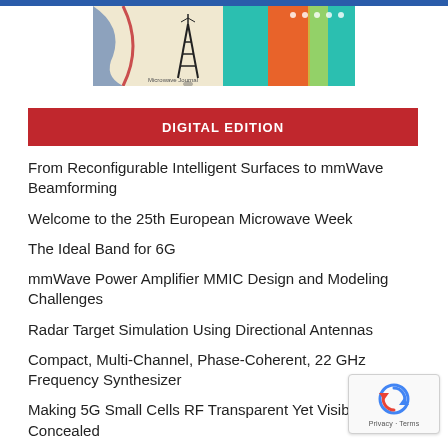[Figure (illustration): Magazine or publication banner/illustration with an antenna tower figure and abstract colorful background design]
DIGITAL EDITION
From Reconfigurable Intelligent Surfaces to mmWave Beamforming
Welcome to the 25th European Microwave Week
The Ideal Band for 6G
mmWave Power Amplifier MMIC Design and Modeling Challenges
Radar Target Simulation Using Directional Antennas
Compact, Multi-Channel, Phase-Coherent, 22 GHz Frequency Synthesizer
Making 5G Small Cells RF Transparent Yet Visible/ Concealed
Time Travel: Marconi's Transatlantic Leap: 12...